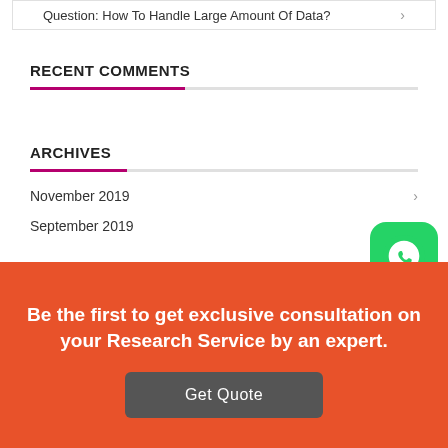Question: How To Handle Large Amount Of Data?
RECENT COMMENTS
ARCHIVES
November 2019
September 2019
Be the first to get exclusive consultation on your Research Service by an expert.
Get Quote